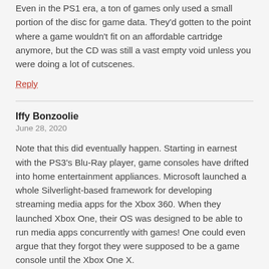Even in the PS1 era, a ton of games only used a small portion of the disc for game data. They'd gotten to the point where a game wouldn't fit on an affordable cartridge anymore, but the CD was still a vast empty void unless you were doing a lot of cutscenes.
Reply
Iffy Bonzoolie
June 28, 2020
Note that this did eventually happen. Starting in earnest with the PS3's Blu-Ray player, game consoles have drifted into home entertainment appliances. Microsoft launched a whole Silverlight-based framework for developing streaming media apps for the Xbox 360. When they launched Xbox One, their OS was designed to be able to run media apps concurrently with games! One could even argue that they forgot they were supposed to be a game console until the Xbox One X.
What still hasn't happened is interactive video content. Everyone has tried it — Blu-Ray, cable, satellite — and no one seems to really want it